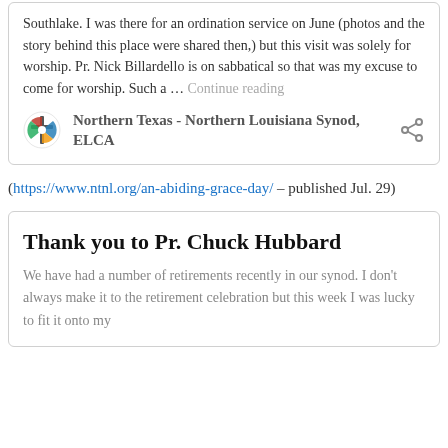Southlake. I was there for an ordination service on June (photos and the story behind this place were shared then,) but this visit was solely for worship. Pr. Nick Billardello is on sabbatical so that was my excuse to come for worship. Such a … Continue reading
Northern Texas - Northern Louisiana Synod, ELCA
(https://www.ntnl.org/an-abiding-grace-day/ – published Jul. 29)
Thank you to Pr. Chuck Hubbard
We have had a number of retirements recently in our synod. I don't always make it to the retirement celebration but this week I was lucky to fit it onto my